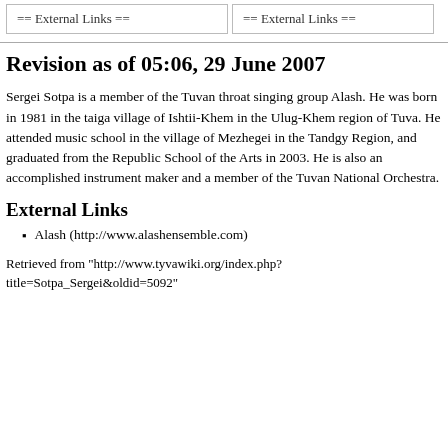== External Links ==
== External Links ==
Revision as of 05:06, 29 June 2007
Sergei Sotpa is a member of the Tuvan throat singing group Alash. He was born in 1981 in the taiga village of Ishtii-Khem in the Ulug-Khem region of Tuva. He attended music school in the village of Mezhegei in the Tandgy Region, and graduated from the Republic School of the Arts in 2003. He is also an accomplished instrument maker and a member of the Tuvan National Orchestra.
External Links
Alash (http://www.alashensemble.com)
Retrieved from "http://www.tyvawiki.org/index.php?title=Sotpa_Sergei&oldid=5092"